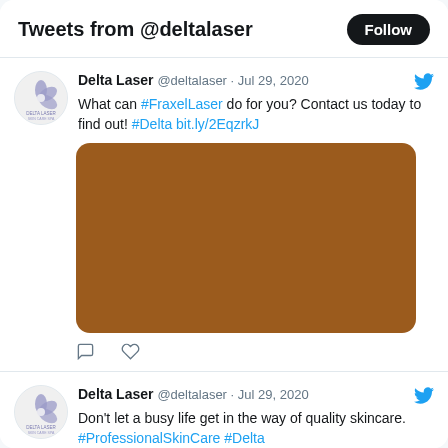Tweets from @deltalaser
Delta Laser @deltalaser · Jul 29, 2020
What can #FraxelLaser do for you? Contact us today to find out! #Delta bit.ly/2EqzrkJ
[Figure (photo): Brown/tan colored image placeholder in tweet card]
Delta Laser @deltalaser · Jul 29, 2020
Don't let a busy life get in the way of quality skincare. #ProfessionalSkinCare #Delta